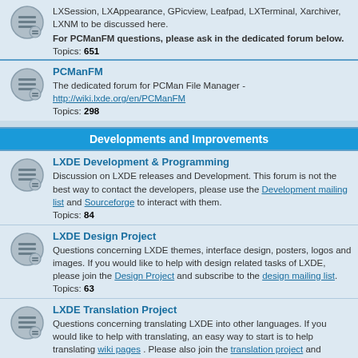LXSession, LXAppearance, GPicview, Leafpad, LXTerminal, Xarchiver, LXNM to be discussed here.
For PCManFM questions, please ask in the dedicated forum below.
Topics: 651
PCManFM
The dedicated forum for PCMan File Manager - http://wiki.lxde.org/en/PCManFM
Topics: 298
Developments and Improvements
LXDE Development & Programming
Discussion on LXDE releases and Development. This forum is not the best way to contact the developers, please use the Development mailing list and Sourceforge to interact with them.
Topics: 84
LXDE Design Project
Questions concerning LXDE themes, interface design, posters, logos and images. If you would like to help with design related tasks of LXDE, please join the Design Project and subscribe to the design mailing list.
Topics: 63
LXDE Translation Project
Questions concerning translating LXDE into other languages. If you would like to help with translating, an easy way to start is to help translating wiki pages . Please also join the translation project and translation mailing list..
Topics: 14
Spread LXDE
Topics: 34